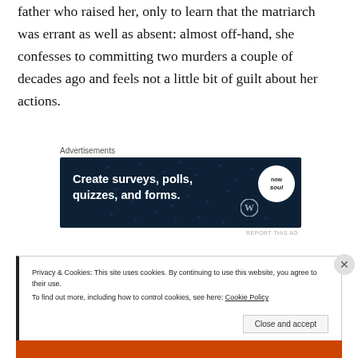father who raised her, only to learn that the matriarch was errant as well as absent: almost off-hand, she confesses to committing two murders a couple of decades ago and feels not a little bit of guilt about her actions.
Advertisements
[Figure (other): Advertisement banner: dark navy background with white bold text 'Create surveys, polls, quizzes, and forms.' with WordPress logo and a circular badge on the right.]
REPORT THIS AD
Privacy & Cookies: This site uses cookies. By continuing to use this website, you agree to their use.
To find out more, including how to control cookies, see here: Cookie Policy
Close and accept